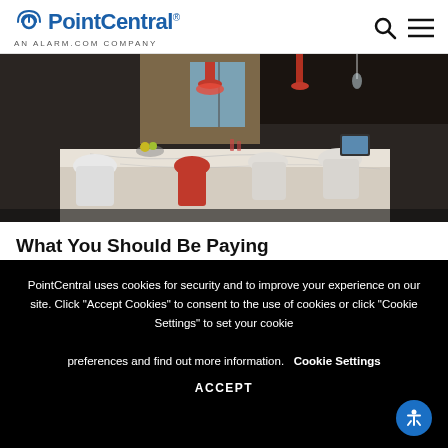PointCentral — AN ALARM.COM COMPANY
[Figure (photo): Modern kitchen/dining area with red pendant lights, white marble island counter, white and red chairs, and dark cabinetry. A tablet device is visible on the counter.]
What You Should Be Paying Attention to When Choosing Smart
PointCentral uses cookies for security and to improve your experience on our site. Click "Accept Cookies" to consent to the use of cookies or click "Cookie Settings" to set your cookie preferences and find out more information.
Cookie Settings
ACCEPT